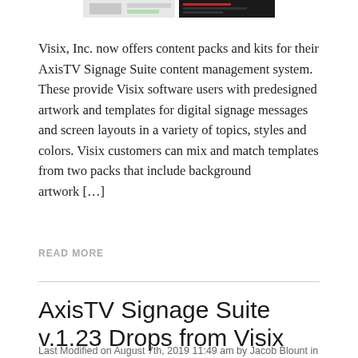[Figure (screenshot): Partial image of digital signage content packs showing preview thumbnails]
Visix, Inc. now offers content packs and kits for their AxisTV Signage Suite content management system. These provide Visix software users with predesigned artwork and templates for digital signage messages and screen layouts in a variety of topics, styles and colors. Visix customers can mix and match templates from two packs that include background artwork […]
READ MORE
AxisTV Signage Suite v.1.23 Drops from Visix
Last Modified on August 7th, 2019 11:49 am by Jacob Blount in AV